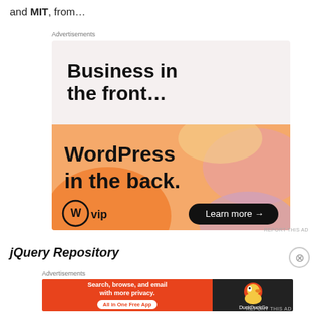and MIT, from…
Advertisements
[Figure (other): WordPress VIP advertisement: 'Business in the front... WordPress in the back.' with colorful gradient background and 'Learn more →' button]
REPORT THIS AD
jQuery Repository
Advertisements
[Figure (other): DuckDuckGo advertisement: 'Search, browse, and email with more privacy. All in One Free App' with DuckDuckGo logo on dark background]